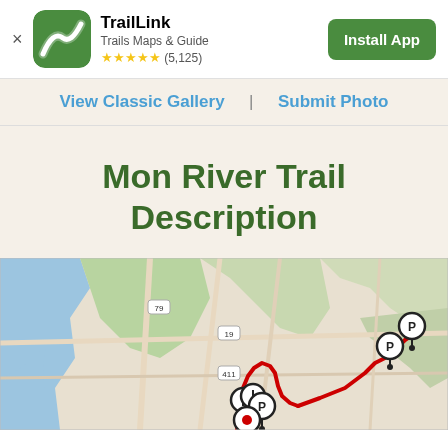[Figure (screenshot): TrailLink app install banner with green app icon (trail path logo), app name TrailLink, subtitle Trails Maps & Guide, 5-star rating (5,125 reviews), and Install App button]
View Classic Gallery | Submit Photo
Mon River Trail Description
[Figure (map): Google Maps screenshot showing a trail route for Mon River Trail with red path drawn on map, multiple location pin markers along the route, and surrounding road/terrain context]